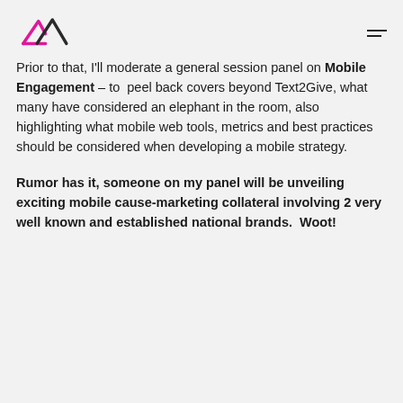[Logo: AI icon] [hamburger menu]
Prior to that, I'll moderate a general session panel on Mobile Engagement – to peel back covers beyond Text2Give, what many have considered an elephant in the room, also highlighting what mobile web tools, metrics and best practices should be considered when developing a mobile strategy.
Rumor has it, someone on my panel will be unveiling exciting mobile cause-marketing collateral involving 2 very well known and established national brands. Woot!